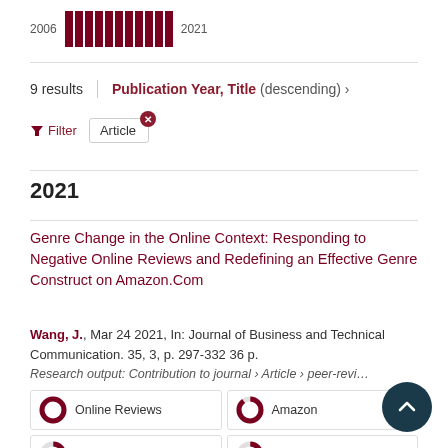[Figure (bar-chart): Publications by year 2006–2021]
9 results  |  Publication Year, Title (descending) ›
🔽 Filter   Article ✕
2021
Genre Change in the Online Context: Responding to Negative Online Reviews and Redefining an Effective Genre Construct on Amazon.Com
Wang, J., Mar 24 2021, In: Journal of Business and Technical Communication. 35, 3, p. 297-332 36 p.
Research output: Contribution to journal › Article › peer-reviewed
Online Reviews
Amazon
Genre
Industry